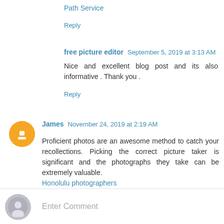Path Service
Reply
free picture editor  September 5, 2019 at 3:13 AM
Nice and excellent blog post and its also informative . Thank you .
Reply
James  November 24, 2019 at 2:19 AM
Proficient photos are an awesome method to catch your recollections. Picking the correct picture taker is significant and the photographs they take can be extremely valuable. Honolulu photographers
Reply
Enter Comment